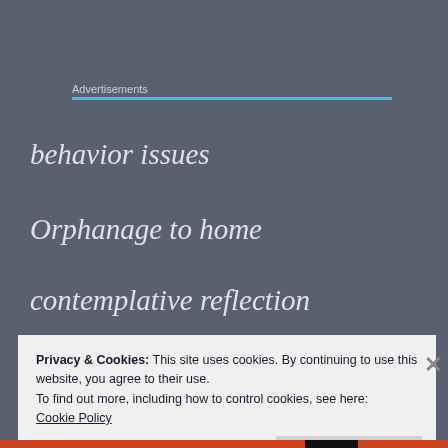Advertisements
behavior issues
Orphanage to home
contemplative reflection
Privacy & Cookies: This site uses cookies. By continuing to use this website, you agree to their use.
To find out more, including how to control cookies, see here:
Cookie Policy
Close and accept